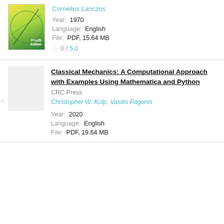[Figure (illustration): Book cover with yellow/green abstract geometric design, Fourth Edition label]
Cornelius Lanczos
Year: 1970
Language: English
File: PDF, 15.64 MB
0 / 5.0
Classical Mechanics: A Computational Approach with Examples Using Mathematica and Python
CRC Press
Christopher W. Kulp, Vasilis Pagonis
Year: 2020
Language: English
File: PDF, 19.64 MB